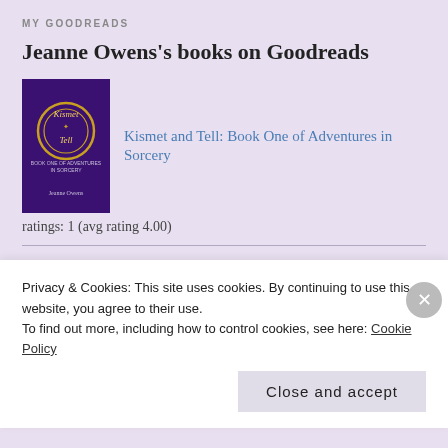MY GOODREADS
Jeanne Owens's books on Goodreads
[Figure (photo): Book cover of 'Kismet and Tell: Book One of Adventures in Sorcery' — dark purple background with golden circular emblem and text]
Kismet and Tell: Book One of Adventures in Sorcery
ratings: 1 (avg rating 4.00)
RECENT COMMENTS
[Figure (photo): Partial view of a comment author avatar — cropped face photo]
Privacy & Cookies: This site uses cookies. By continuing to use this website, you agree to their use.
To find out more, including how to control cookies, see here: Cookie Policy
Close and accept